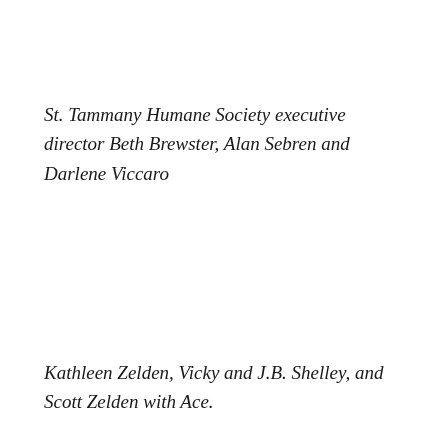St. Tammany Humane Society executive director Beth Brewster, Alan Sebren and Darlene Viccaro
Kathleen Zelden, Vicky and J.B. Shelley, and Scott Zelden with Ace.